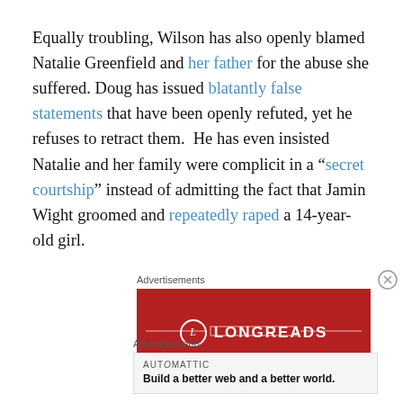Equally troubling, Wilson has also openly blamed Natalie Greenfield and her father for the abuse she suffered. Doug has issued blatantly false statements that have been openly refuted, yet he refuses to retract them. He has even insisted Natalie and her family were complicit in a “secret courtship” instead of admitting the fact that Jamin Wight groomed and repeatedly raped a 14-year-old girl.
[Figure (other): Advertisement banner for Longreads on a red background with a circle logo containing 'L' and the text 'LONGREADS', with decorative lines and partial italic text below.]
[Figure (other): Advertisement banner by Automattic with tagline 'Build a better web and a better world.']